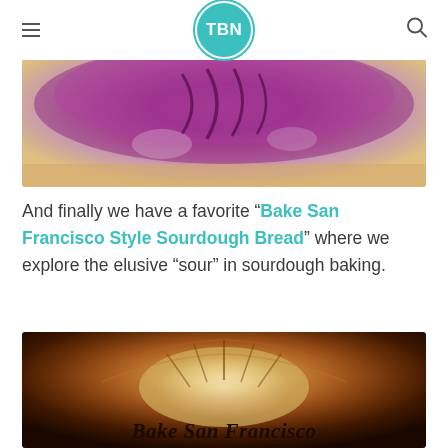TBN
[Figure (photo): Close-up of a purple/violet scored sourdough bread loaf from above, showing flour dusted surface with decorative cuts]
And finally we have a favorite “Bake San Francisco Style Sourdough Bread” where we explore the elusive “sour” in sourdough baking.
[Figure (photo): Close-up of a golden-brown crusty sourdough bread with a sun/wheat score pattern, with text overlay reading Bake San Francisco]